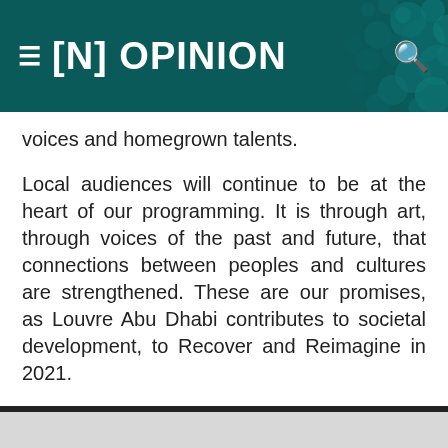≡ [N] OPINION
voices and homegrown talents.
Local audiences will continue to be at the heart of our programming. It is through art, through voices of the past and future, that connections between peoples and cultures are strengthened. These are our promises, as Louvre Abu Dhabi contributes to societal development, to Recover and Reimagine in 2021.
Manuel Rabaté is the Director of Louvre Abu Dhabi